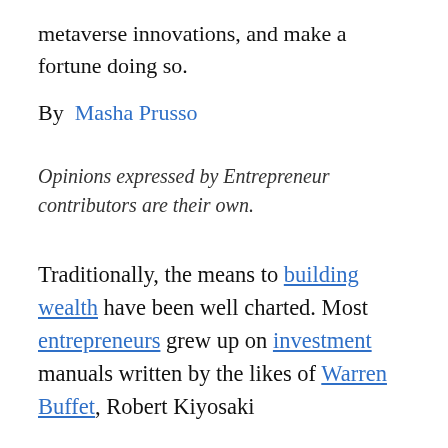metaverse innovations, and make a fortune doing so.
By  Masha Prusso
Opinions expressed by Entrepreneur contributors are their own.
Traditionally, the means to building wealth have been well charted. Most entrepreneurs grew up on investment manuals written by the likes of Warren Buffet, Robert Kiyosaki